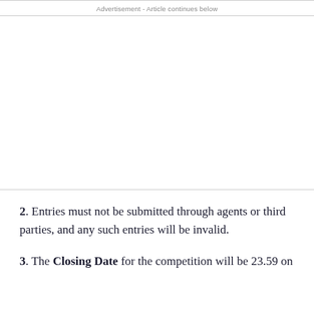Advertisement - Article continues below
2. Entries must not be submitted through agents or third parties, and any such entries will be invalid.
3. The Closing Date for the competition will be 23.59 on